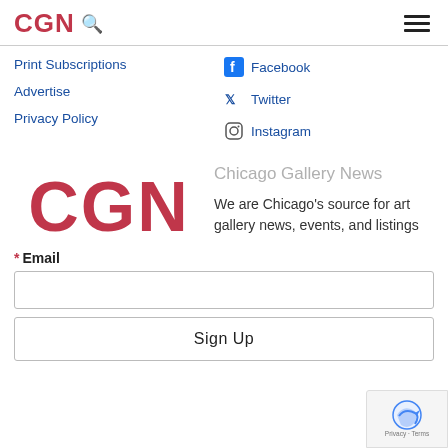CGN
Print Subscriptions
Advertise
Privacy Policy
Facebook
Twitter
Instagram
[Figure (logo): CGN large red logo text]
Chicago Gallery News
We are Chicago's source for art gallery news, events, and listings
* Email
Sign Up